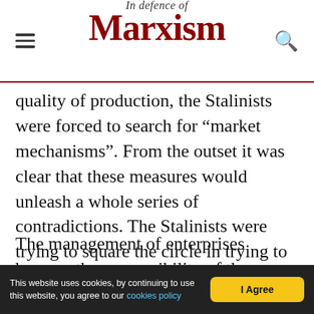In Defence of Marxism
quality of production, the Stalinists were forced to search for “market mechanisms”. From the outset it was clear that these measures would unleash a whole series of contradictions. The Stalinists were trying to square the circle in trying to open up to market and yet trying to maintain central control at the same time.
The management of enterprises became the responsibility of the workers’ councils of the enterprise rather than of the state ministers. Detailed plans for production were shifted to basic
This website uses cookies, by continuing to use this website, you agree to our cookies policy   I Agree